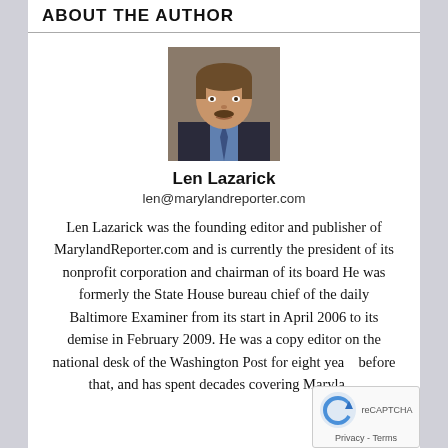ABOUT THE AUTHOR
[Figure (photo): Headshot photo of Len Lazarick, a man with brown hair and a mustache wearing a dark jacket and blue shirt]
Len Lazarick
len@marylandreporter.com
Len Lazarick was the founding editor and publisher of MarylandReporter.com and is currently the president of its nonprofit corporation and chairman of its board He was formerly the State House bureau chief of the daily Baltimore Examiner from its start in April 2006 to its demise in February 2009. He was a copy editor on the national desk of the Washington Post for eight years before that, and has spent decades covering Maryland politics and government.